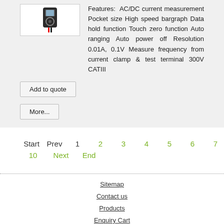Features: AC/DC current measurement Pocket size High speed bargraph Data hold function Touch zero function Auto ranging Auto power off Resolution 0.01A, 0.1V Measure frequency from current clamp & test terminal 300V CATIII
Add to quote
More...
Start  Prev  1  2  3  4  5  6  7  8  9  10  Next  End
Sitemap
Contact us
Products
Enquiry Cart
About KKInstruments
Latest Updated Website: Meter.com.my